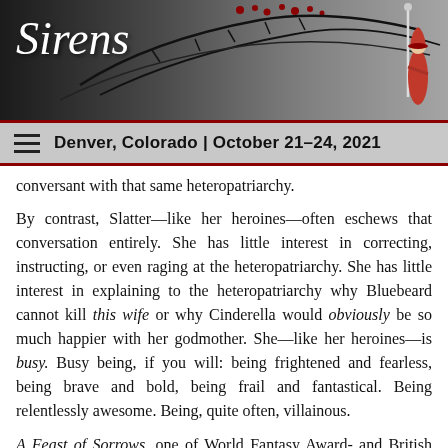Sirens — Denver, Colorado | October 21–24, 2021
conversant with that same heteropatriarchy.
By contrast, Slatter—like her heroines—often eschews that conversation entirely. She has little interest in correcting, instructing, or even raging at the heteropatriarchy. She has little interest in explaining to the heteropatriarchy why Bluebeard cannot kill this wife or why Cinderella would obviously be so much happier with her godmother. She—like her heroines—is busy. Busy being, if you will: being frightened and fearless, being brave and bold, being frail and fantastical. Being relentlessly awesome. Being, quite often, villainous.
A Feast of Sorrows, one of World Fantasy Award- and British Fantasy Award-winning